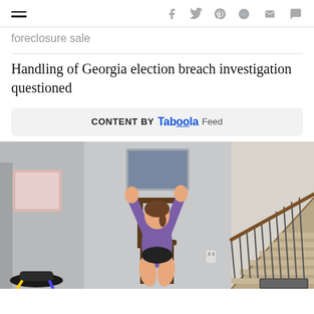Navigation and social sharing icons
foreclosure sale
Handling of Georgia election breach investigation questioned
CONTENT BY Taboola Feed
[Figure (photo): A woman in a purple shirt and black shorts doing a seated exercise with arms raised above her head, sitting on a wooden chair in a home interior with stairs visible in the background and a small trampoline to the left.]